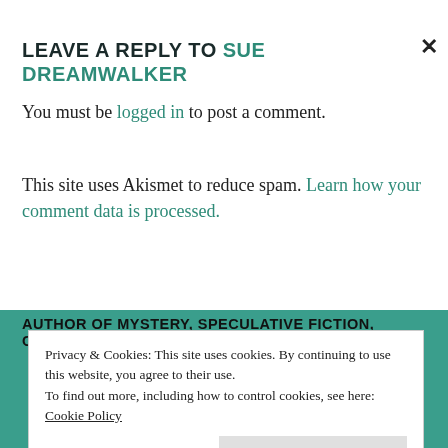LEAVE A REPLY TO SUE DREAMWALKER
You must be logged in to post a comment.
This site uses Akismet to reduce spam. Learn how your comment data is processed.
AUTHOR OF MYSTERY, SPECULATIVE FICTION, CHILDREN'S
Privacy & Cookies: This site uses cookies. By continuing to use this website, you agree to their use.
To find out more, including how to control cookies, see here: Cookie Policy